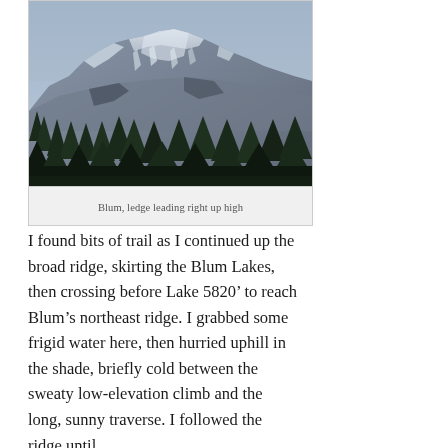[Figure (photo): Mountain peak with snow and glaciers, pine trees in foreground, blue-grey sky. Photo of Blum mountain.]
Blum, ledge leading right up high
I found bits of trail as I continued up the broad ridge, skirting the Blum Lakes, then crossing before Lake 5820’ to reach Blum’s northeast ridge. I grabbed some frigid water here, then hurried uphill in the shade, briefly cold between the sweaty low-elevation climb and the long, sunny traverse. I followed the ridge until